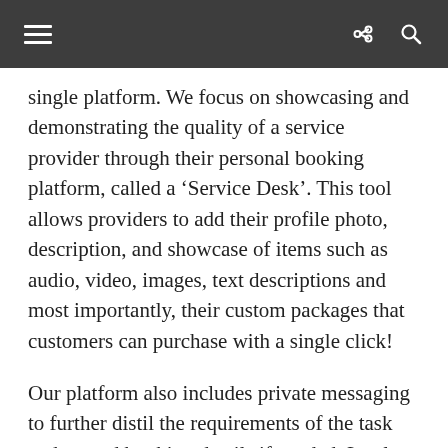[navigation bar with menu, share, and search icons]
single platform. We focus on showcasing and demonstrating the quality of a service provider through their personal booking platform, called a ‘Service Desk’. This tool allows providers to add their profile photo, description, and showcase of items such as audio, video, images, text descriptions and most importantly, their custom packages that customers can purchase with a single click!
Our platform also includes private messaging to further distil the requirements of the task and amend booking details if needed. Lastly, we have a review system that accumulates on the provider’s Service Desk which further builds upon trust and value for